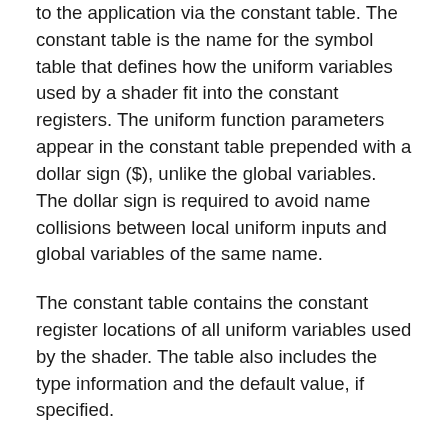to the application via the constant table. The constant table is the name for the symbol table that defines how the uniform variables used by a shader fit into the constant registers. The uniform function parameters appear in the constant table prepended with a dollar sign ($), unlike the global variables. The dollar sign is required to avoid name collisions between local uniform inputs and global variables of the same name.
The constant table contains the constant register locations of all uniform variables used by the shader. The table also includes the type information and the default value, if specified.
Varying Shader Inputs and Semantics
Varying input parameters (of a top-level shader function) must be marked either with a semantic or uniform keyword indicating the value is constant for the execution of the...